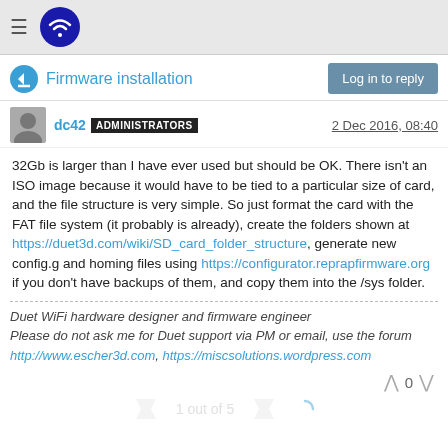Firmware installation
dc42  ADMINISTRATORS  2 Dec 2016, 08:40
32Gb is larger than I have ever used but should be OK. There isn't an ISO image because it would have to be tied to a particular size of card, and the file structure is very simple. So just format the card with the FAT file system (it probably is already), create the folders shown at https://duet3d.com/wiki/SD_card_folder_structure, generate new config.g and homing files using https://configurator.reprapfirmware.org if you don't have backups of them, and copy them into the /sys folder.
Duet WiFi hardware designer and firmware engineer
Please do not ask me for Duet support via PM or email, use the forum
http://www.escher3d.com, https://miscsolutions.wordpress.com
1 out of 5